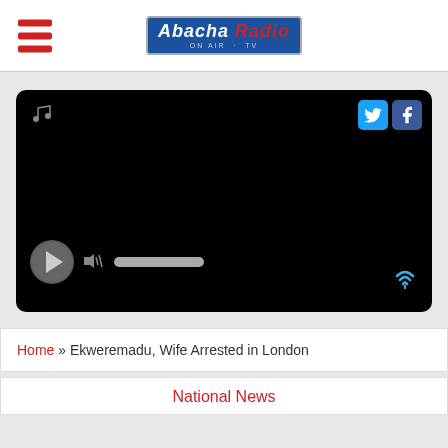☰ [Logo: Abacha Radio / TV]
[Figure (screenshot): Black media player with music note icon, Twitter and Facebook social share buttons, play button, volume slider, and wireless/signal icon.]
Home » Ekweremadu, Wife Arrested in London
National News